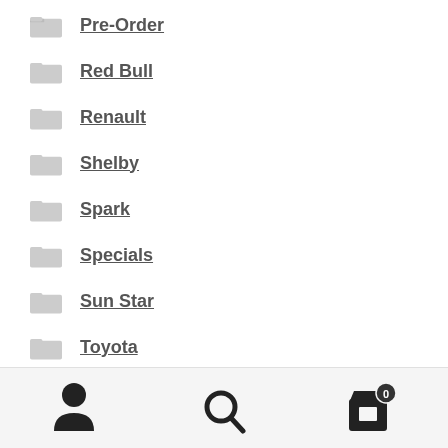Pre-Order
Red Bull
Renault
Shelby
Spark
Specials
Sun Star
Toyota
FREE Postage Australia ONLY on Purchases over $200.00
Dismiss